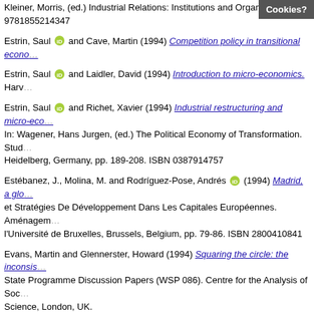Kleiner, Morris, (ed.) Industrial Relations: Institutions and Organizations. 9781855214347
Estrin, Saul and Cave, Martin (1994) Competition policy in transitional econo...
Estrin, Saul and Laidler, David (1994) Introduction to micro-economics. Harv...
Estrin, Saul and Richet, Xavier (1994) Industrial restructuring and micro-eco... In: Wagener, Hans Jurgen, (ed.) The Political Economy of Transformation. Stud... Heidelberg, Germany, pp. 189-208. ISBN 0387914757
Estébanez, J., Molina, M. and Rodríguez-Pose, Andrés (1994) Madrid, a glo... et Stratégies De Développement Dans Les Capitales Européennes. Aménagem... l'Université de Bruxelles, Brussels, Belgium, pp. 79-86. ISBN 2800410841
Evans, Martin and Glennerster, Howard (1994) Squaring the circle: the inconsis... State Programme Discussion Papers (WSP 086). Centre for the Analysis of Soc... Science, London, UK.
Falkingham, Jane, Gardiner, Karen, Hills, John, Lechêne, Valérie and Sutherlan... health care systems on international comparions of income distribution. Welfare... Centre for the Analysis of Social Exclusion, London School of Economics and P...
Farr, Robert (1994) Attitudes, social representations and social attitudes. Paper... 1021-5573
Featherstone, Kevin (1994) The Greek election of 1993: backwards or forwards... 0140-2382
Featherstone, Kevin (1994) Introduction. In: Greece in a changing Europe: oppo...